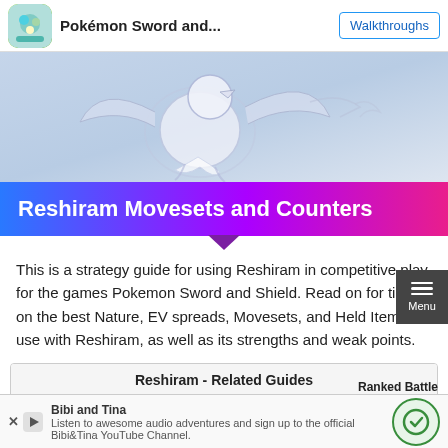Pokémon Sword and... | Walkthroughs
[Figure (illustration): Hero banner image showing Reshiram, a white dragon Pokémon, illustrated in a light blue/grey toned sketch style against a pale background with other trainer figures.]
Reshiram Movesets and Counters
This is a strategy guide for using Reshiram in competitive play for the games Pokemon Sword and Shield. Read on for tips on the best Nature, EV spreads, Movesets, and Held Items to use with Reshiram, as well as its strengths and weak points.
| Reshiram - Related Guides |
| --- |
| [icon] | [icon] |
Ranked Battle
Bibi and Tina
Listen to awesome audio adventures and sign up to the official Bibi&Tina YouTube Channel.